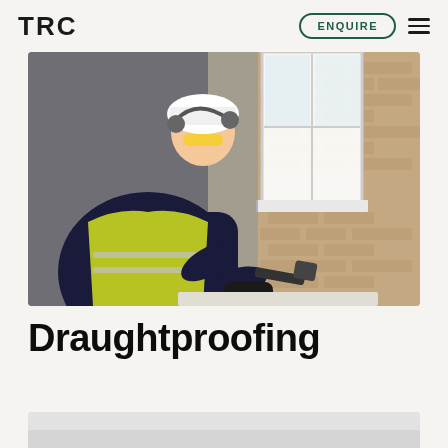TRC | ENQUIRE
[Figure (photo): A construction worker wearing a yellow high-visibility vest, white hard hat, yellow safety glasses, and black gloves using a hammer to work on a window frame at a residential brick building.]
Draughtproofing
[Figure (photo): Bottom portion of a second image partially visible, showing a grey/light colored background, cropped at the bottom of the page.]